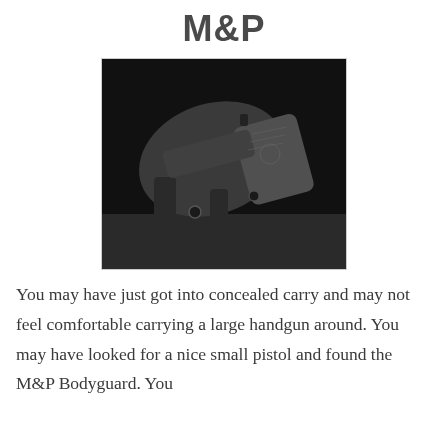M&P
[Figure (photo): Black and white photograph of an M&P Bodyguard pistol in a holster, resting on a surface against a dark background.]
You may have just got into concealed carry and may not feel comfortable carrying a large handgun around. You may have looked for a nice small pistol and found the M&P Bodyguard. You